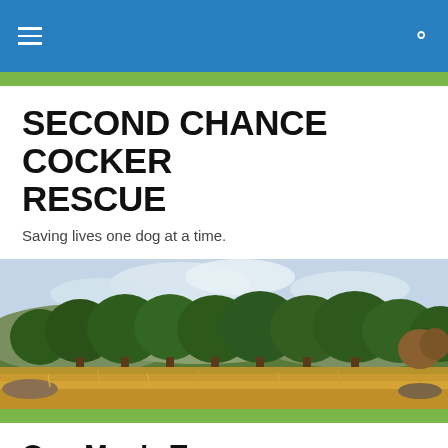Navigation bar with hamburger menu and search icon
SECOND CHANCE COCKER RESCUE
Saving lives one dog at a time.
[Figure (photo): Landscape photo showing a row of large green oak trees in a field with dry golden grass in the foreground and a cloudy sky in the background.]
One Man’s Treasure
[Figure (photo): Partial view of a photo below the One Man’s Treasure heading, partially cut off at the bottom of the page.]